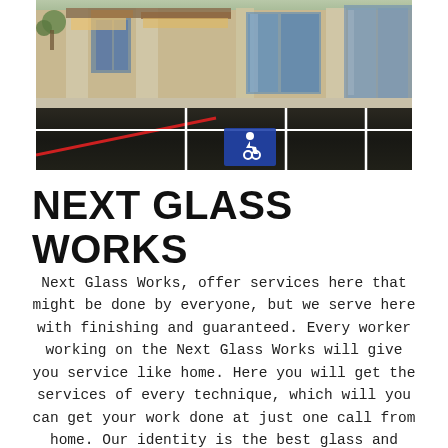[Figure (photo): Photograph of a commercial building exterior with a parking lot in the foreground showing white parking lines, a red curb/striping, and a blue handicap parking symbol painted on the asphalt. The building has large glass storefronts and stone/masonry facade. Trees are visible in the background.]
NEXT GLASS WORKS
Next Glass Works, offer services here that might be done by everyone, but we serve here with finishing and guaranteed. Every worker working on the Next Glass Works will give you service like home. Here you will get the services of every technique, which will you can get your work done at just one call from home. Our identity is the best glass and finishing service. Everyone who works here is well